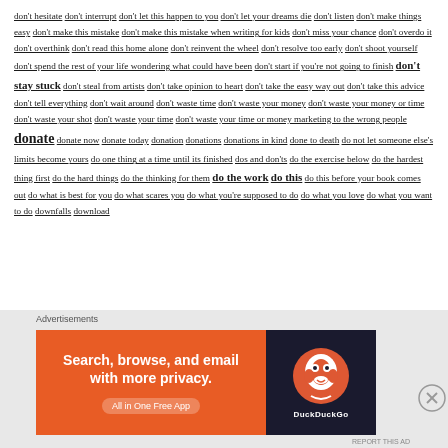don't hesitate don't interrupt don't let this happen to you don't let your dreams die don't listen don't make things easy don't make this mistake don't make this mistake when writing for kids don't miss your chance don't overdo it don't overthink don't read this home alone don't reinvent the wheel don't resolve too early don't shoot yourself don't spend the rest of your life wondering what could have been don't start if you're not going to finish don't stay stuck don't steal from artists don't take opinion to heart don't take the easy way out don't take this advice don't tell everything don't wait around don't waste time don't waste your money don't waste your money or time don't waste your shot don't waste your time don't waste your time or money marketing to the wrong people donate donate now donate today donation donations donations in kind done to death do not let someone else's limits become yours do one thing at a time until its finished dos and don'ts do the exercise below do the hardest thing first do the hard things do the thinking for them do the work do this do this before your book comes out do what is best for you do what scares you do what you're supposed to do do what you love do what you want to do downfalls download
[Figure (infographic): DuckDuckGo advertisement banner with orange background, text 'Search, browse, and email with more privacy. All in One Free App' and DuckDuckGo duck logo on dark background]
Advertisements